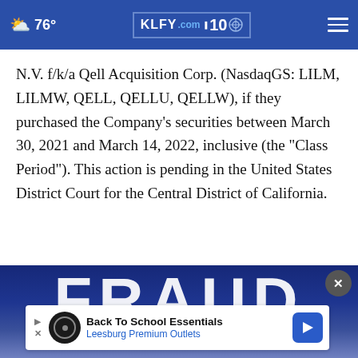76° KLFY.com 10
N.V. f/k/a Qell Acquisition Corp. (NasdaqGS: LILM, LILMW, QELL, QELLU, QELLW), if they purchased the Company's securities between March 30, 2021 and March 14, 2022, inclusive (the "Class Period"). This action is pending in the United States District Court for the Central District of California.
[Figure (photo): Partial 'FRAUD' text graphic banner with blue background, partially obscured by advertisement overlay. A close (X) button appears in the upper right.]
Back To School Essentials Leesburg Premium Outlets